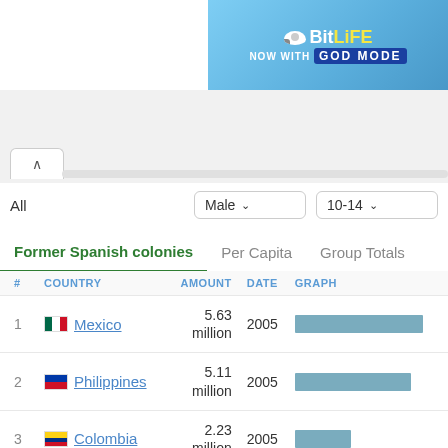[Figure (screenshot): BitLife ad banner — 'NOW WITH GOD MODE']
All
Male ∨
10-14 ∨
Former Spanish colonies
Per Capita
Group Totals
| # | COUNTRY | AMOUNT | DATE | GRAPH |
| --- | --- | --- | --- | --- |
| 1 | Mexico | 5.63 million | 2005 | bar |
| 2 | Philippines | 5.11 million | 2005 | bar |
| 3 | Colombia | 2.23 million | 2005 | bar |
| 4 | Argentina (partial) | 1.73 | 2005 | bar |